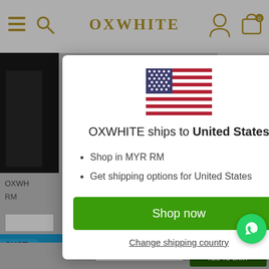[Figure (screenshot): Background of OXWHITE e-commerce website showing header with logo, product images, and page elements behind a modal dialog]
[Figure (illustration): US flag SVG illustration used in modal]
OXWHITE ships to United States
Shop in MYR RM
Get shipping options for United States
Shop now
Change shipping country